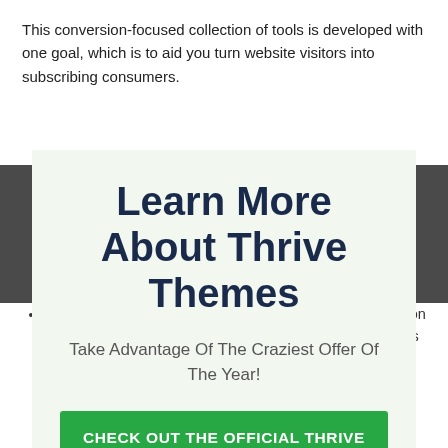This conversion-focused collection of tools is developed with one goal, which is to aid you turn website visitors into subscribing consumers.
Learn More About Thrive Themes
Take Advantage Of The Craziest Offer Of The Year!
CHECK OUT THE OFFICIAL THRIVE SITE HERE
No thanks, I'm not interested!
Conversion Emphasis: There are very couple of vendors on the marketplace that have such a large portfolio of devices focused on advertising, optimization, and also list building.